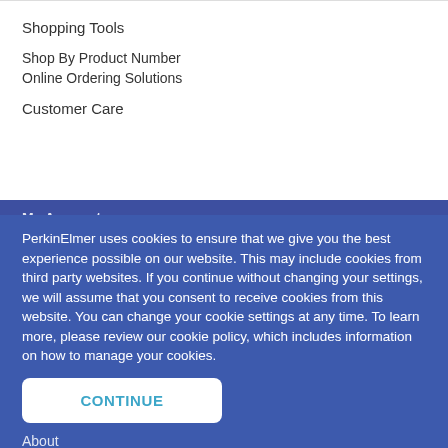Shopping Tools
Shop By Product Number
Online Ordering Solutions
Customer Care
My Account
Request Service Visit
Connect
Contact Us
Offices
PerkinElmer uses cookies to ensure that we give you the best experience possible on our website. This may include cookies from third party websites. If you continue without changing your settings, we will assume that you consent to receive cookies from this website. You can change your cookie settings at any time. To learn more, please review our cookie policy, which includes information on how to manage your cookies.
CONTINUE
About